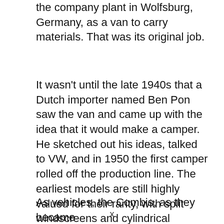the company plant in Wolfsburg, Germany, as a van to carry materials. That was its original job.
It wasn't until the late 1940s that a Dutch importer named Ben Pon saw the van and came up with the idea that it would make a camper. He sketched out his ideas, talked to VW, and in 1950 the first camper rolled off the production line. The earliest models are still highly valued for their rarity, with split windscreens and cylindrical headlights.
As vehicles, the Combis, as they became
x